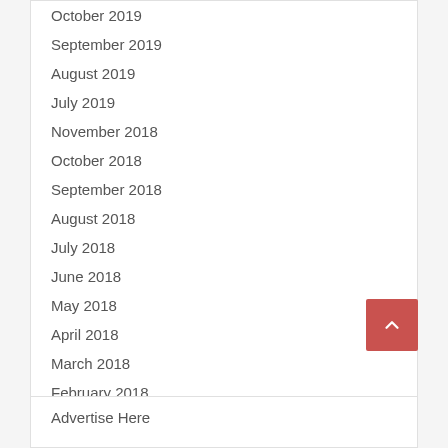October 2019
September 2019
August 2019
July 2019
November 2018
October 2018
September 2018
August 2018
July 2018
June 2018
May 2018
April 2018
March 2018
February 2018
January 2018
Advertise Here